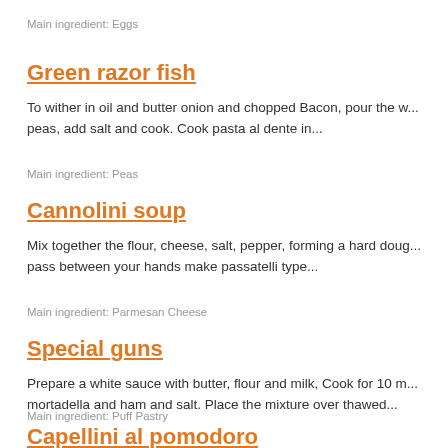Main ingredient: Eggs
Green razor fish
To wither in oil and butter onion and chopped Bacon, pour the w... peas, add salt and cook. Cook pasta al dente in...
Main ingredient: Peas
Cannolini soup
Mix together the flour, cheese, salt, pepper, forming a hard doug... pass between your hands make passatelli type...
Main ingredient: Parmesan Cheese
Special guns
Prepare a white sauce with butter, flour and milk, Cook for 10 m... mortadella and ham and salt. Place the mixture over thawed...
Main ingredient: Puff Pastry
Capellini al pomodoro